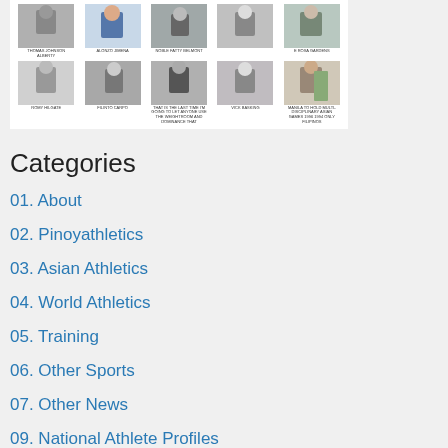[Figure (photo): Grid of athlete photos arranged in two rows of five, showing various sports athletes with captions below each photo]
Categories
01. About
02. Pinoyathletics
03. Asian Athletics
04. World Athletics
05. Training
06. Other Sports
07. Other News
09. National Athlete Profiles
10. Foreign Languages
Anatomy